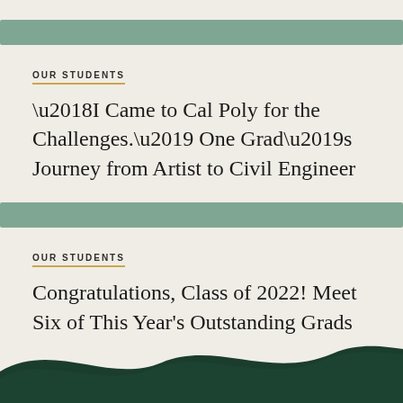[Figure (other): Sage green decorative horizontal bar, first article]
OUR STUDENTS
‘I Came to Cal Poly for the Challenges.’ One Grad’s Journey from Artist to Civil Engineer
[Figure (other): Sage green decorative horizontal bar, second article]
OUR STUDENTS
Congratulations, Class of 2022! Meet Six of This Year’s Outstanding Grads
[Figure (illustration): Dark green wave decoration at bottom of page]